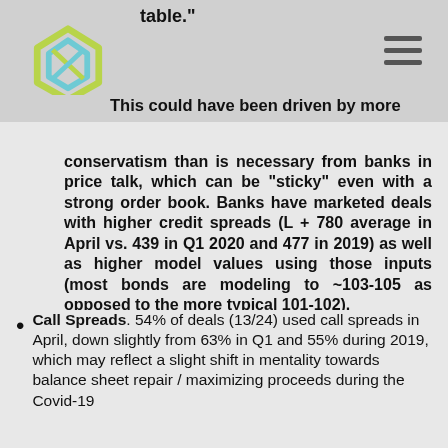table."
This could have been driven by more conservatism than is necessary from banks in price talk, which can be “sticky” even with a strong order book.  Banks have marketed  deals with higher credit spreads (L + 780 average in April vs. 439 in Q1 2020 and 477 in 2019) as well as higher model values using those inputs (most bonds are modeling to ~103-105 as opposed to the more typical 101-102).
Call Spreads. 54% of deals (13/24) used call spreads in April, down slightly from 63% in Q1 and 55% during 2019, which may reflect a slight shift in mentality towards balance sheet repair / maximizing proceeds during the Covid-19